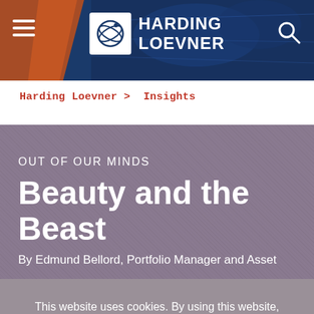[Figure (screenshot): Harding Loevner website header banner with hamburger menu icon on left, Harding Loevner logo (circular globe graphic with orbit rings) in center, and search (magnifying glass) icon on right, over a dark blue/orange abstract world map background.]
Harding Loevner > Insights
OUT OF OUR MINDS
Beauty and the Beast
By Edmund Bellord, Portfolio Manager and Asset
This website uses cookies. By using this website, you agree to our Cookie Policy.   Accept
Cookie Policy